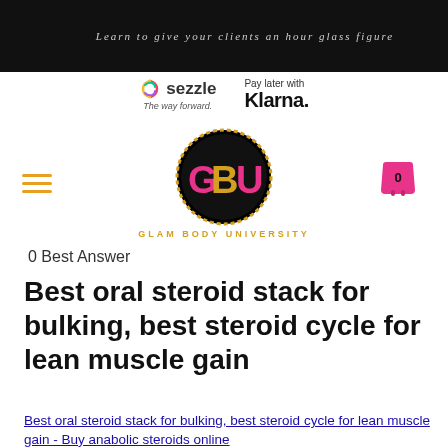Learn to give your clients an hour glass figure
[Figure (logo): Sezzle logo with tagline 'The way forward' and Klarna 'Pay later with Klarna.' payment logos]
[Figure (logo): Glam Body University (GBU) circular logo with pink and gold lettering on black background, hamburger menu icon on left, shopping cart icon on right]
0 Best Answer
Best oral steroid stack for bulking, best steroid cycle for lean muscle gain
Best oral steroid stack for bulking, best steroid cycle for lean muscle gain - Buy anabolic steroids online